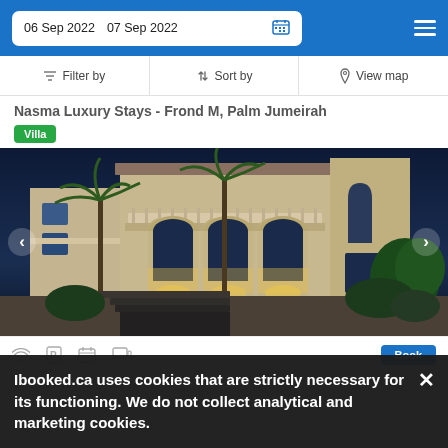06 Sep 2022   07 Sep 2022
Filter by   Sort by   View map
Nasma Luxury Stays - Frond M, Palm Jumeirah
Villa
[Figure (photo): Night-time exterior photo of a large white Mediterranean-style villa with illuminated archways, balcony, arched windows, palm trees, and stone stairs in the foreground]
11.2 min from City Centre
Ibooked.ca uses cookies that are strictly necessary for its functioning. We do not collect analytical and marketing cookies.